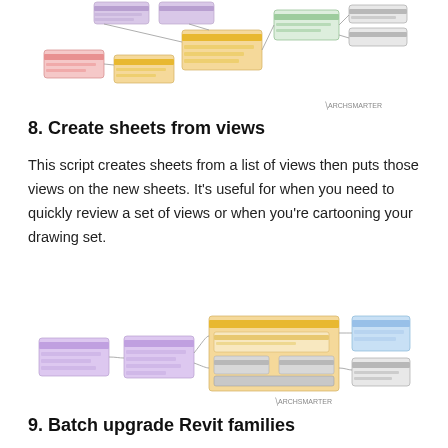[Figure (flowchart): Dynamo script node diagram showing a flowchart with multiple colored node groups connected by wires, including pink, orange, green, and grey nodes, with ARCHSMARTER watermark]
8. Create sheets from views
This script creates sheets from a list of views then puts those views on the new sheets. It’s useful for when you need to quickly review a set of views or when you’re cartooning your drawing set.
[Figure (flowchart): Dynamo script node diagram showing a flowchart with purple, orange, and blue node groups connected by wires, with ARCHSMARTER watermark]
9. Batch upgrade Revit families